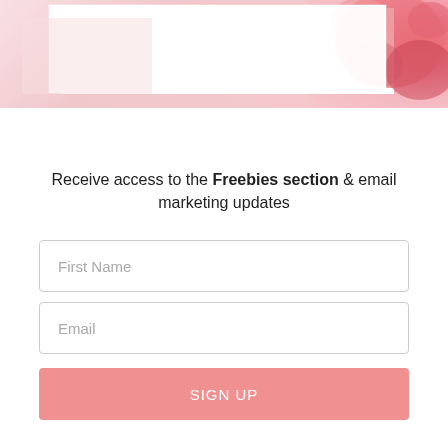[Figure (photo): Pink floral banner image with a white rectangular overlay/frame on the left side and pink blossoms visible on the right side.]
Receive access to the Freebies section & email marketing updates
First Name
Email
SIGN UP